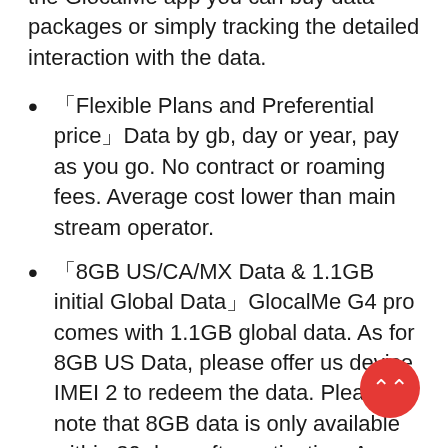the GlocalMe app you can buy data packages or simply tracking the detailed interaction with the data.
「Flexible Plans and Preferential price」Data by gb, day or year, pay as you go. No contract or roaming fees. Average cost lower than main stream operator.
「8GB US/CA/MX Data & 1.1GB initial Global Data」GlocalMe G4 pro comes with 1.1GB global data. As for 8GB US Data, please offer us device IMEI 2 to redeem the data. Please note that 8GB data is only available within 30 days after activation. As a professional seller on Amazon, GlocalMe supports 30 days money back guarantee and 1 year warranty, if you have any question please feel free to contact us and we will be at your service within 24 hours.